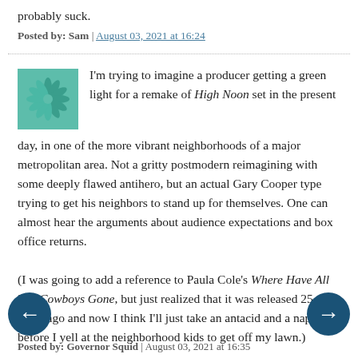probably suck.
Posted by: Sam | August 03, 2021 at 16:24
I'm trying to imagine a producer getting a green light for a remake of High Noon set in the present day, in one of the more vibrant neighborhoods of a major metropolitan area. Not a gritty postmodern reimagining with some deeply flawed antihero, but an actual Gary Cooper type trying to get his neighbors to stand up for themselves. One can almost hear the arguments about audience expectations and box office returns.
(I was going to add a reference to Paula Cole's Where Have All The Cowboys Gone, but just realized that it was released 25 years ago and now I think I'll just take an antacid and a nap before I yell at the neighborhood kids to get off my lawn.)
Posted by: Governor Squid | August 03, 2021 at 16:35